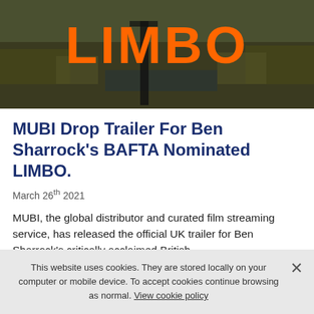[Figure (photo): Movie poster/hero image for LIMBO film with orange bold text 'LIMBO' overlaid on a dark outdoor landscape background]
MUBI Drop Trailer For Ben Sharrock's BAFTA Nominated LIMBO.
March 26th 2021
MUBI, the global distributor and curated film streaming service, has released the official UK trailer for Ben Sharrock's critically acclaimed British
Read more
This website uses cookies. They are stored locally on your computer or mobile device. To accept cookies continue browsing as normal. View cookie policy